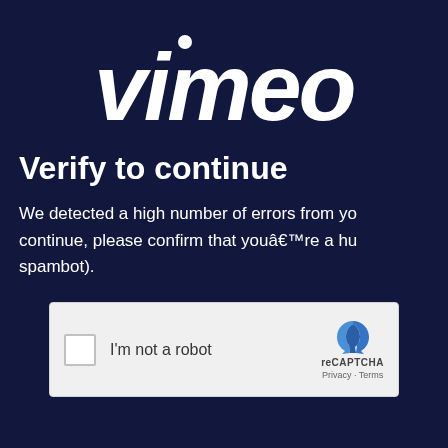[Figure (logo): Vimeo logo in white italic script font on dark navy background]
Verify to continue
We detected a high number of errors from yo... continue, please confirm that youâ€™re a hu... spambot).
[Figure (screenshot): reCAPTCHA widget with checkbox labeled 'I'm not a robot' and reCAPTCHA logo with Privacy and Terms links]